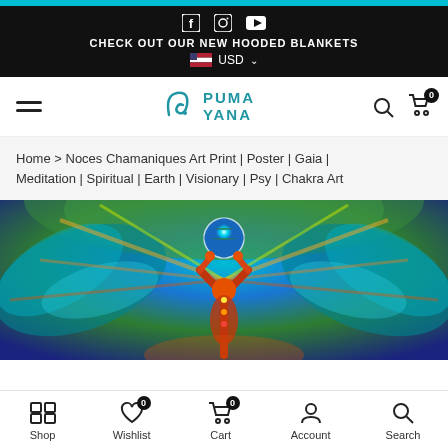CHECK OUT OUR NEW HOODED BLANKETS | USD
[Figure (logo): Puma Yana logo with stylized P symbol]
Home > Noces Chamaniques Art Print | Poster | Gaia | Meditation | Spiritual | Earth | Visionary | Psy | Chakra Art
[Figure (photo): Colorful visionary/psychedelic art print showing a figure with arms raised holding a globe, surrounded by fractal wings in teal, green, yellow and orange colors]
Shop | Wishlist 0 | Cart 0 | Account | Search